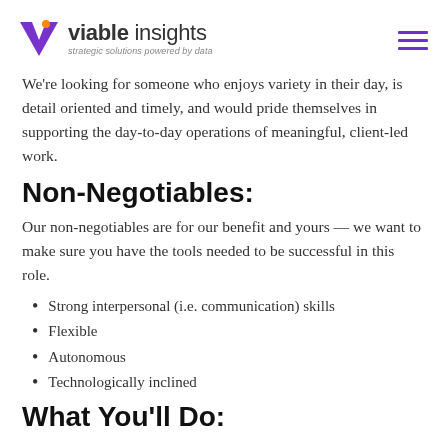viable insights — strategic solutions powered by data
We're looking for someone who enjoys variety in their day, is detail oriented and timely, and would pride themselves in supporting the day-to-day operations of meaningful, client-led work.
Non-Negotiables:
Our non-negotiables are for our benefit and yours — we want to make sure you have the tools needed to be successful in this role.
Strong interpersonal (i.e. communication) skills
Flexible
Autonomous
Technologically inclined
What You'll Do: